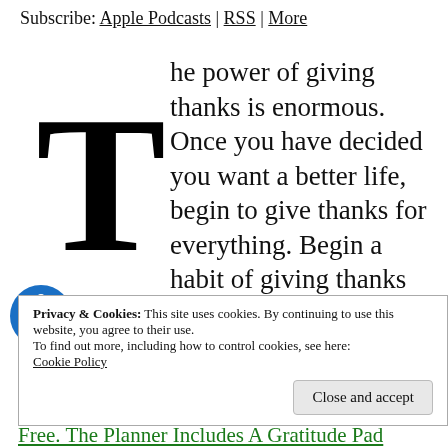Subscribe: Apple Podcasts | RSS | More
The power of giving thanks is enormous. Once you have decided you want a better life, begin to give thanks for everything. Begin a habit of giving thanks every morning and throughout your day. Soon you will see how powerful a simple thing like gratitude can be.
Privacy & Cookies: This site uses cookies. By continuing to use this website, you agree to their use.
To find out more, including how to control cookies, see here:
Cookie Policy
Close and accept
Free. The Planner Includes A Gratitude Pad